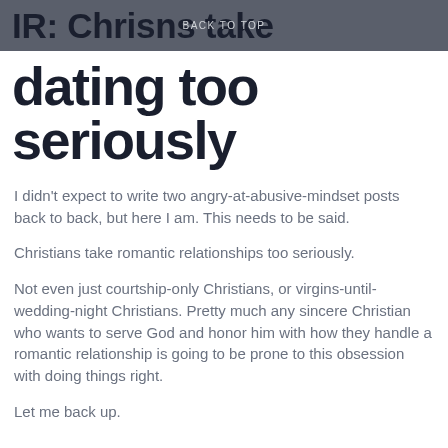IR: Christians take
BACK TO TOP
dating too seriously
I didn't expect to write two angry-at-abusive-mindset posts back to back, but here I am. This needs to be said.
Christians take romantic relationships too seriously.
Not even just courtship-only Christians, or virgins-until-wedding-night Christians. Pretty much any sincere Christian who wants to serve God and honor him with how they handle a romantic relationship is going to be prone to this obsession with doing things right.
Let me back up.